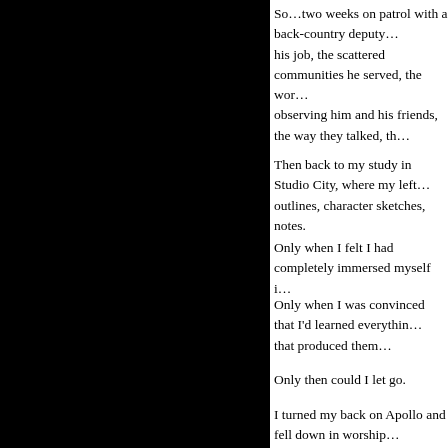So…two weeks on patrol with a back-country deputy…his job, the scattered communities he served, the wor…observing him and his friends, the way they talked, th…
Then back to my study in Studio City, where my left…outlines, character sketches, notes.
Only when I felt I had completely immersed myself i…
Only when I was convinced that I'd learned everythin…that produced them…
Only then could I let go.
I turned my back on Apollo and fell down in worship…deserved rest and placing the burden of creation on th…
How did I achieve this?